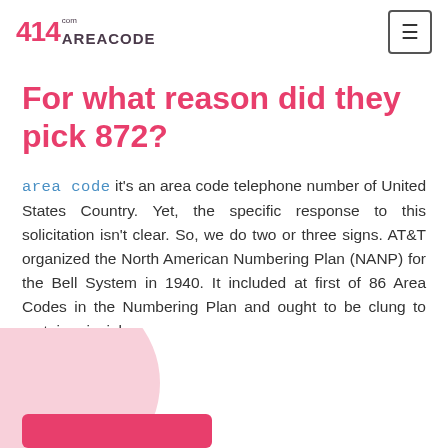414 AREACODE.com
For what reason did they pick 872?
area code it's an area code telephone number of United States Country. Yet, the specific response to this solicitation isn't clear. So, we do two or three signs. AT&T organized the North American Numbering Plan (NANP) for the Bell System in 1940. It included at first of 86 Area Codes in the Numbering Plan and ought to be clung to certain principles.